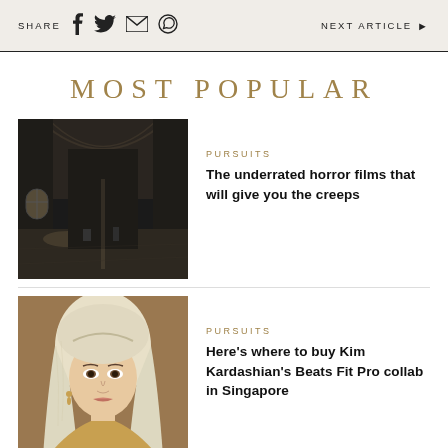SHARE  NEXT ARTICLE ▶
MOST POPULAR
[Figure (photo): Dark interior of an abandoned building with arched windows and debris on the floor]
PURSUITS
The underrated horror films that will give you the creeps
[Figure (photo): Blonde woman with platinum hair pulled back, wearing jewelry, against a tan background]
PURSUITS
Here's where to buy Kim Kardashian's Beats Fit Pro collab in Singapore